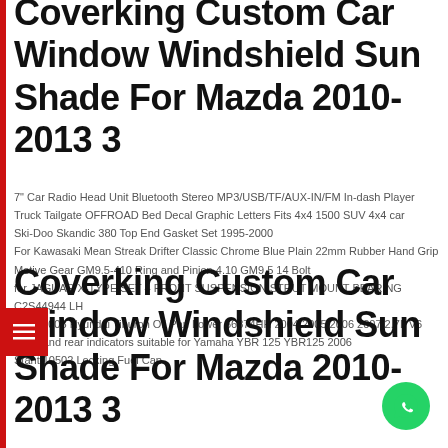Coverking Custom Car Window Windshield Sun Shade For Mazda 2010-2013 3
7" Car Radio Head Unit Bluetooth Stereo MP3/USB/TF/AUX-IN/FM In-dash Player
Truck Tailgate OFFROAD Bed Decal Graphic Letters Fits 4x4 1500 SUV 4x4 car
Ski-Doo Skandic 380 Top End Gasket Set 1995-2000
For Kawasaki Mean Streak Drifter Classic Chrome Blue Plain 22mm Rubber Hand Grip
Motive Gear GM9.5-410 Ring and Pinion 4.10 GM9.5 14 Bolt
for JAGUAR X-TYPE SET 4 FRONT SUSPENSION STRUT MOUNT BEARING C2S44944 LH
2003-2008 Hyundai Tiburon Oil Pan Lower 56874HH 2004 2005 2006 2007 2.7L V6
Front and rear indicators suitable for Yamaha YBR 125 YBR125 2006
Stant 10502 Locking Fuel Cap
Coverking Custom Car Window Windshield Sun Shade For Mazda 2010-2013 3